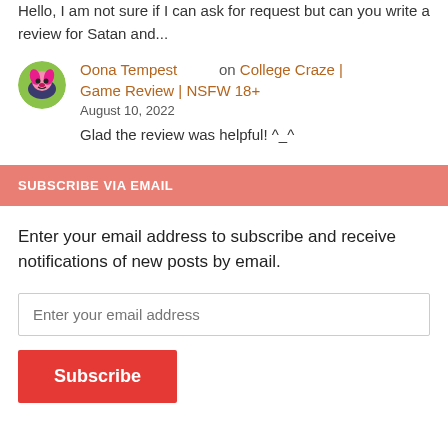Hello, I am not sure if I can ask for request but can you write a review for Satan and...
Oona Tempest on College Craze | Game Review | NSFW 18+
August 10, 2022
Glad the review was helpful! ^_^
SUBSCRIBE VIA EMAIL
Enter your email address to subscribe and receive notifications of new posts by email.
Enter your email address
Subscribe